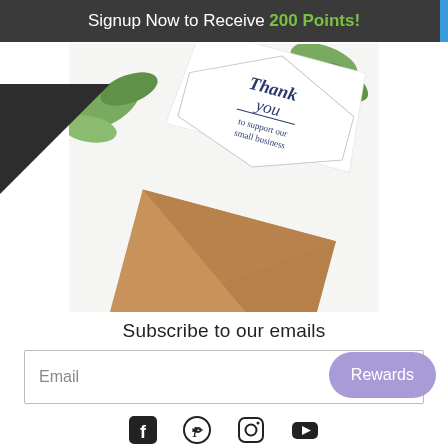Signup Now to Receive 200 Points!
[Figure (photo): Photo of a thank you card coming out of a kraft paper envelope with greenery, text on card reads 'Thank you to support our small business']
Subscribe to our emails
Email →
Rewards
[Figure (other): Social media icons: Facebook, Pinterest, Instagram, YouTube]